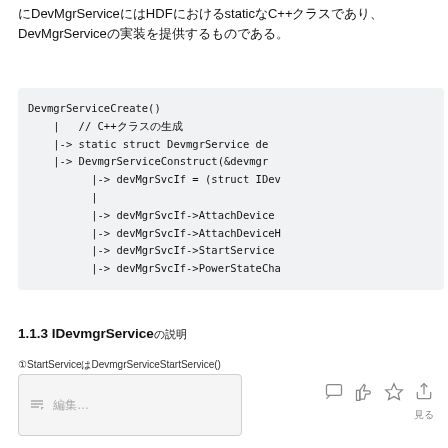にDevMgrServiceにはHDFにおけるstaticなC++クラスであり、DevMgrServiceの実装を提供するものである。
[Figure (screenshot): Code block showing DevmgrServiceCreate() call tree with static struct DevmgrService, DevmgrServiceConstruct, devMgrSvcIf assignments and method calls including AttachDevice, AttachDeviceH, StartService, PowerStateCha]
1.1.3 IDevmgrServiceの説明
①StartServiceはDevmgrServiceStartService()
編集…